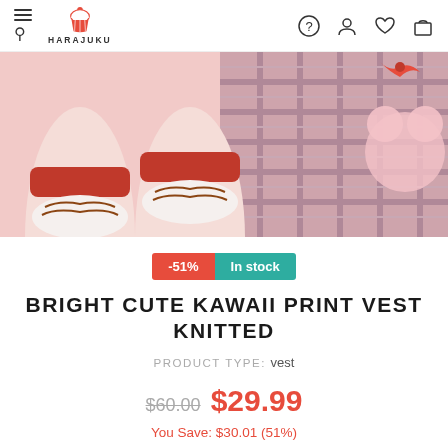HARAJUKU
[Figure (photo): Product photo showing legs wearing white socks with red tops featuring kawaii print, alongside a pink pleated plaid skirt and a pink stuffed animal]
-51% In stock
BRIGHT CUTE KAWAII PRINT VEST KNITTED
PRODUCT TYPE: vest
$60.00 $29.99
You Save: $30.01 (51%)
Real time 18 visitor right now